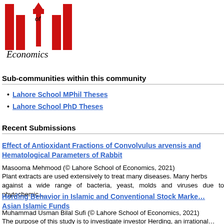[Figure (logo): Lahore School of Economics logo - red architectural/pillars design with 'of Economics' text]
Sub-communities within this community
Lahore School MPhil Theses
Lahore School PhD Theses
Recent Submissions
Effect of Antioxidant Fractions of Convolvulus arvensis and Hematological Parameters of Rabbit
Masooma Mehmood (© Lahore School of Economics, 2021)
Plant extracts are used extensively to treat many diseases. Many herbs against a wide range of bacteria, yeast, molds and viruses due to phytochemic…
Herding Behavior in Islamic and Conventional Stock Markets: Asian Islamic Funds
Muhammad Usman Bilal Sufi (© Lahore School of Economics, 2021)
The purpose of this study is to investigate investor Herding, an irrational…